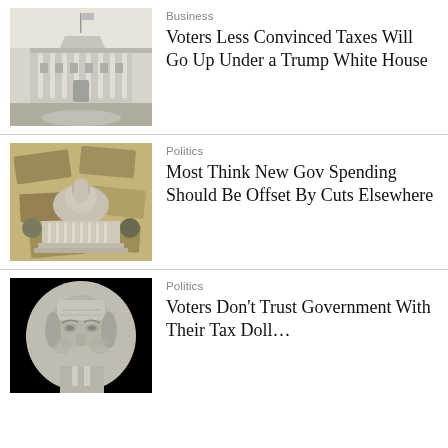[Figure (photo): Illustration of the White House building in grayscale/engraving style]
Business
Voters Less Convinced Taxes Will Go Up Under a Trump White House
[Figure (photo): US Capitol building overlaid on scattered $100 bills, in sepia/monochrome tones]
Politics
Most Think New Gov Spending Should Be Offset By Cuts Elsewhere
[Figure (photo): Close-up of Benjamin Franklin's portrait on a $100 bill, grayscale]
Politics
Voters Don't Trust Government With Their Tax Doll…